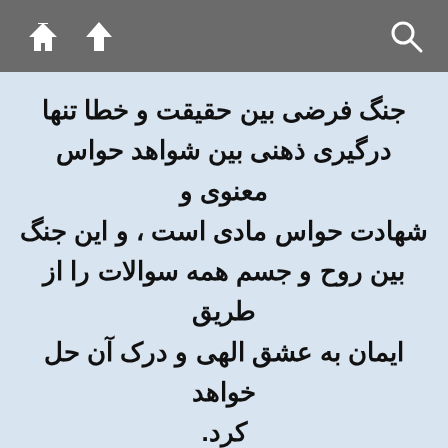toolbar with home, up, and search icons
جنگ فرضی بین حقیقت و خطا تنها درگیری ذهنی بین شواهد حواس معنوی و شهادت حواس مادی است ، و این جنگ بین روح و جسم همه سوالات را از طریق ایمان به عشق الهی و درک آن حل خواهد کرد.
7. 288 : 3-8
The suppositional warfare between truth and error is only the mental